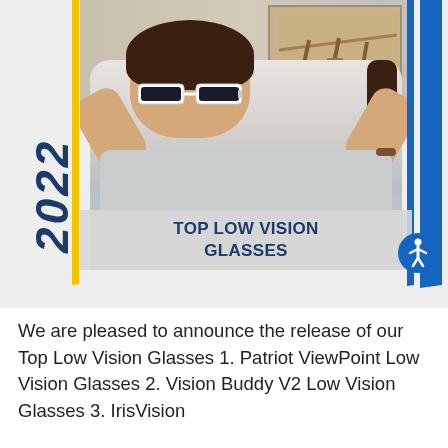[Figure (photo): A person wearing white low vision glasses (smart glasses), putting them on with both hands raised to their head. In the background is a painting of beach chairs. The year '2022' is displayed vertically on the left side in bold dark blue italic text. Yellow and blue decorative diagonal bars frame the image on left and right. A gray overlay at the bottom of the image reads 'TOP LOW VISION GLASSES' in bold dark blue uppercase text.]
We are pleased to announce the release of our Top Low Vision Glasses 1. Patriot ViewPoint Low Vision Glasses 2. Vision Buddy V2 Low Vision Glasses 3. IrisVision